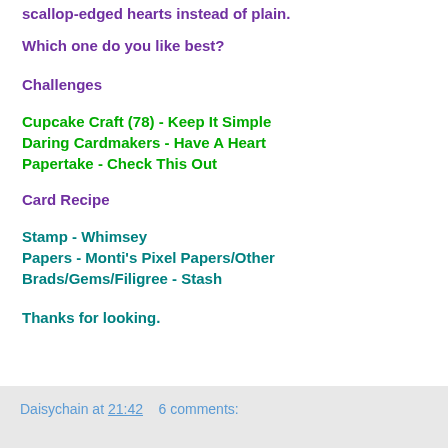scallop-edged hearts instead of plain.
Which one do you like best?
Challenges
Cupcake Craft (78) - Keep It Simple
Daring Cardmakers - Have A Heart
Papertake - Check This Out
Card Recipe
Stamp - Whimsey
Papers - Monti's Pixel Papers/Other
Brads/Gems/Filigree - Stash
Thanks for looking.
Daisychain at 21:42   6 comments: